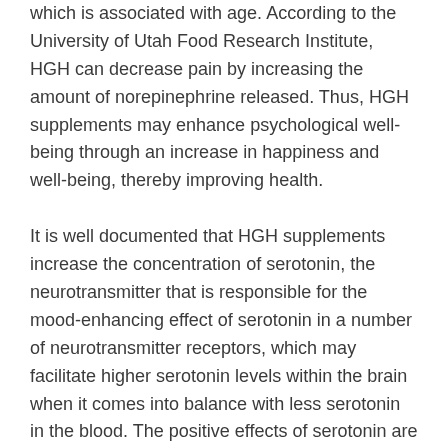which is associated with age. According to the University of Utah Food Research Institute, HGH can decrease pain by increasing the amount of norepinephrine released. Thus, HGH supplements may enhance psychological well-being through an increase in happiness and well-being, thereby improving health.
It is well documented that HGH supplements increase the concentration of serotonin, the neurotransmitter that is responsible for the mood-enhancing effect of serotonin in a number of neurotransmitter receptors, which may facilitate higher serotonin levels within the brain when it comes into balance with less serotonin in the blood. The positive effects of serotonin are thought to be mediated via improved sleep quality, feeling more energetic and, thus, higher overall happiness.